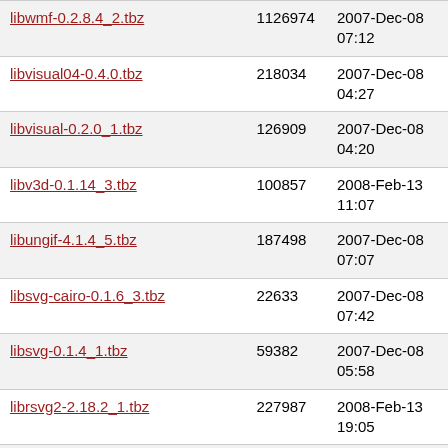| libwmf-0.2.8.4_2.tbz | 1126974 | 2007-Dec-08 07:12 |
| libvisual04-0.4.0.tbz | 218034 | 2007-Dec-08 04:27 |
| libvisual-0.2.0_1.tbz | 126909 | 2007-Dec-08 04:20 |
| libv3d-0.1.14_3.tbz | 100857 | 2008-Feb-13 11:07 |
| libungif-4.1.4_5.tbz | 187498 | 2007-Dec-08 07:07 |
| libsvg-cairo-0.1.6_3.tbz | 22633 | 2007-Dec-08 07:42 |
| libsvg-0.1.4_1.tbz | 59382 | 2007-Dec-08 05:58 |
| librsvg2-2.18.2_1.tbz | 227987 | 2008-Feb-13 19:05 |
| librsvg-1.0.3_5.tbz | 62830 | 2008-Feb-13 18:34 |
| libqrencode-1.0.2_2.tbz | 23165 | 2007-Dec-08 04:21 |
| libqglviewer-2.2.4.1_1.tbz | 908833 | 2008-Feb-13 15:15 |